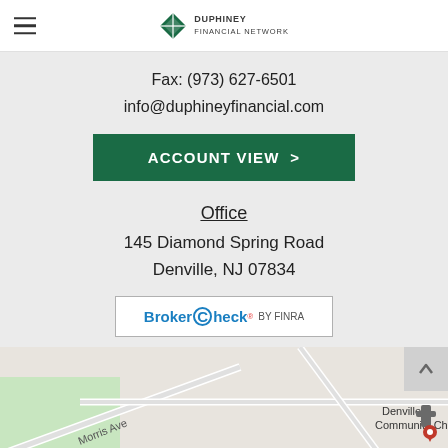Duphiney Financial Network
Fax: (973) 627-6501
info@duphineyfinancial.com
ACCOUNT VIEW  >
Office
145 Diamond Spring Road
Denville, NJ 07834
[Figure (logo): BrokerCheck by FINRA logo button]
[Figure (map): Map showing Denville, NJ area with Morris Ave and Denville Community Church labeled]